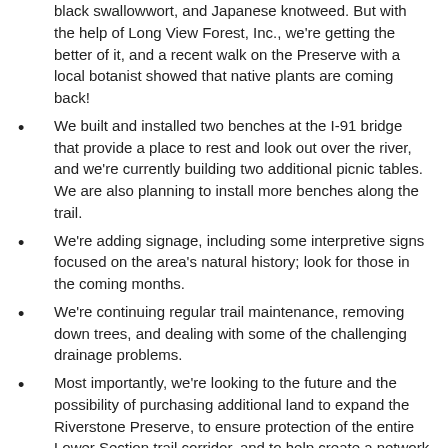black swallowwort, and Japanese knotweed. But with the help of Long View Forest, Inc., we're getting the better of it, and a recent walk on the Preserve with a local botanist showed that native plants are coming back!
We built and installed two benches at the I-91 bridge that provide a place to rest and look out over the river, and we're currently building two additional picnic tables. We are also planning to install more benches along the trail.
We're adding signage, including some interpretive signs focused on the area's natural history; look for those in the coming months.
We're continuing regular trail maintenance, removing down trees, and dealing with some of the challenging drainage problems.
Most importantly, we're looking to the future and the possibility of purchasing additional land to expand the Riverstone Preserve, to ensure protection of the entire Lower Section trail corridor, and to help create a network of linked trails along the Connecticut River and extending